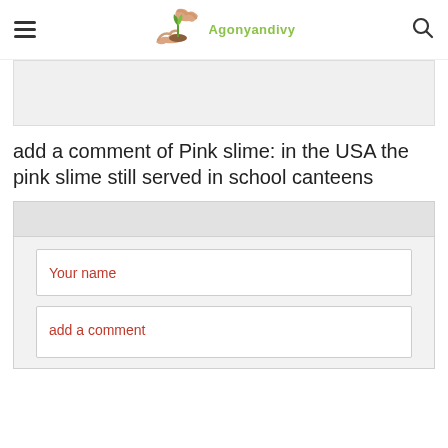Agonyandivy
[Figure (other): Gray content box placeholder area]
add a comment of Pink slime: in the USA the pink slime still served in school canteens
Your name
add a comment